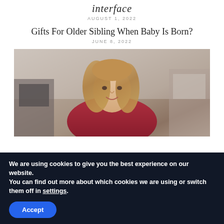interface
AUGUST 1, 2022
Gifts For Older Sibling When Baby Is Born?
JUNE 8, 2022
[Figure (photo): Woman with long blonde hair wearing a red top, smiling, in a kitchen or home setting]
We are using cookies to give you the best experience on our website.
You can find out more about which cookies we are using or switch them off in settings.
Accept